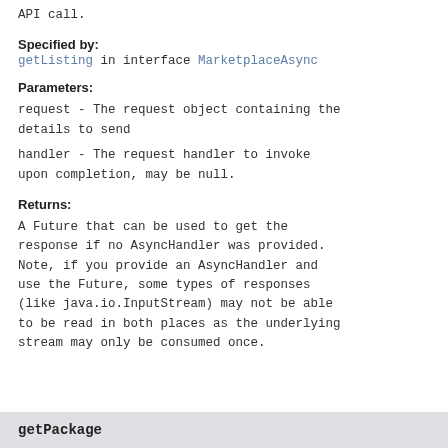API call.
Specified by:
getListing in interface MarketplaceAsync
Parameters:
request - The request object containing the details to send
handler - The request handler to invoke upon completion, may be null.
Returns:
A Future that can be used to get the response if no AsyncHandler was provided. Note, if you provide an AsyncHandler and use the Future, some types of responses (like java.io.InputStream) may not be able to be read in both places as the underlying stream may only be consumed once.
getPackage